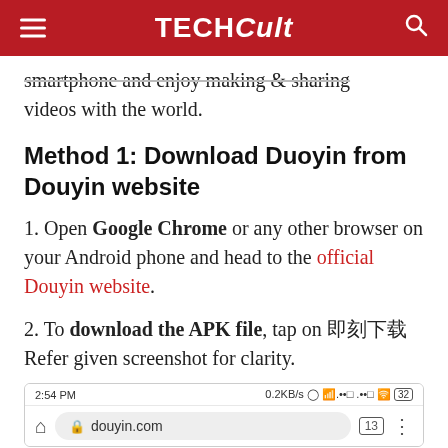TECHCult
smartphone and enjoy making & sharing videos with the world.
Method 1: Download Duoyin from Douyin website
1. Open Google Chrome or any other browser on your Android phone and head to the official Douyin website.
2. To download the APK file, tap on [Chinese characters]. Refer given screenshot for clarity.
[Figure (screenshot): Screenshot of Android browser showing douyin.com URL bar with status bar showing 2:54 PM and 0.2KB/s]